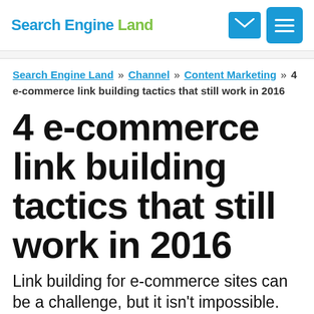Search Engine Land
Search Engine Land » Channel » Content Marketing » 4 e-commerce link building tactics that still work in 2016
4 e-commerce link building tactics that still work in 2016
Link building for e-commerce sites can be a challenge, but it isn't impossible. Columnist Christian Sculthorp shares